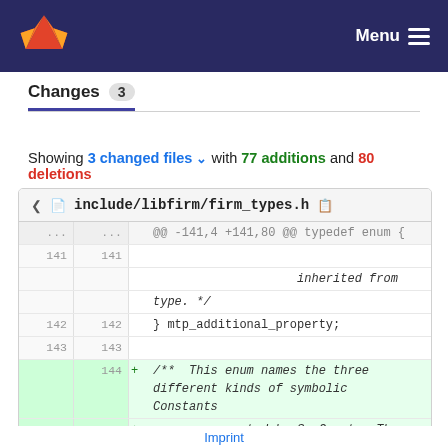Menu
Changes 3
Showing 3 changed files with 77 additions and 80 deletions
| old_ln | new_ln | sign | code |
| --- | --- | --- | --- |
| ... | ... |  | @@ -141,4 +141,80 @@ typedef enum { |
| 141 | 141 |  |  |
|  |  |  |                     inherited from |
|  |  |  | type. */ |
| 142 | 142 |  | } mtp_additional_property; |
| 143 | 143 |  |  |
|  | 144 | + | /**  This enum names the three different kinds of symbolic Constants |
|  | 145 | + |      represented by SymConst.  The content of the attribute type_or_id |
|  | 146 | + |      depends on this tag.  Use the |
Imprint